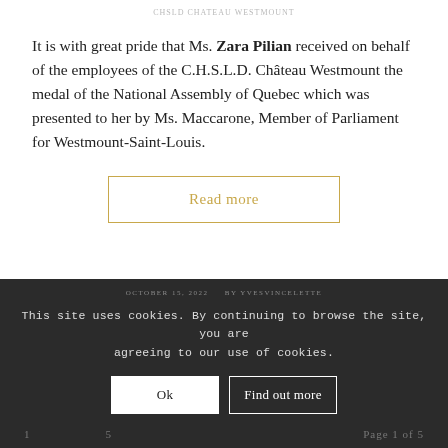CHSLD CHATEAU WESTMOUNT
It is with great pride that Ms. Zara Pilian received on behalf of the employees of the C.H.S.L.D. Château Westmount the medal of the National Assembly of Quebec which was presented to her by Ms. Maccarone, Member of Parliament for Westmount-Saint-Louis.
Read more
OCTOBER 15, 2022   BY YVESVINCELETTE   This site uses cookies. By continuing to browse the site, you are agreeing to our use of cookies.   Ok   Find out more   1   5   Page 1 of 5